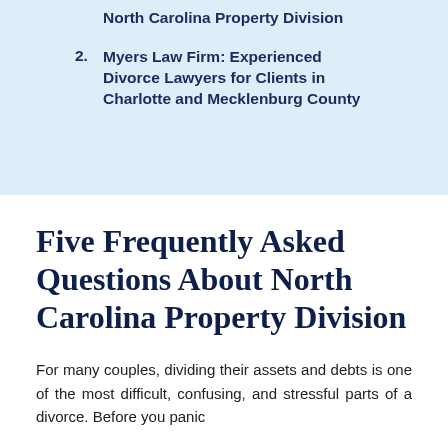North Carolina Property Division
2. Myers Law Firm: Experienced Divorce Lawyers for Clients in Charlotte and Mecklenburg County
Five Frequently Asked Questions About North Carolina Property Division
For many couples, dividing their assets and debts is one of the most difficult, confusing, and stressful parts of a divorce. Before you panic